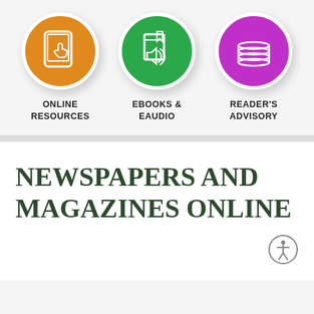[Figure (infographic): Three circular icons in a row: orange circle with tablet/hand icon labeled ONLINE RESOURCES, green circle with audiobook icon labeled EBOOKS & EAUDIO, purple circle with stacked books icon labeled READER'S ADVISORY]
NEWSPAPERS AND MAGAZINES ONLINE